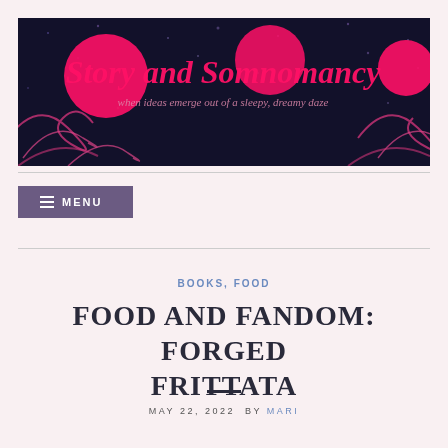[Figure (illustration): Blog header banner with dark navy/black background, pink swirling decorative elements and circles, reading 'Story and Somnomancy' with subtitle 'when ideas emerge out of a sleepy dreamy daze']
≡ MENU
BOOKS, FOOD
FOOD AND FANDOM: FORGED FRITTATA
MAY 22, 2022  BY MARI